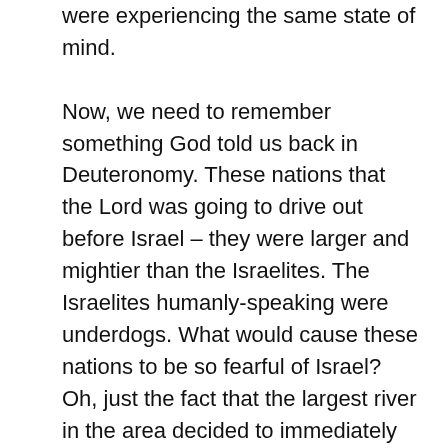were experiencing the same state of mind.

Now, we need to remember something God told us back in Deuteronomy. These nations that the Lord was going to drive out before Israel – they were larger and mightier than the Israelites. The Israelites humanly-speaking were underdogs. What would cause these nations to be so fearful of Israel? Oh, just the fact that the largest river in the area decided to immediately dry up just so that they could cross over into Canaan. But even these hardened sinners could see that God was with Israel doing these things for them. He had to be. Rivers don't just suddenly stop by themselves. And large powerful nations – like those led by Og and Sihon – don't just get defeated by a roving band of men from the desert. That is, unless the God of the whole universe decides to get involved! So the nations are trembling. It would seem to be the time to strike! But Israel has a few things to attend to first.